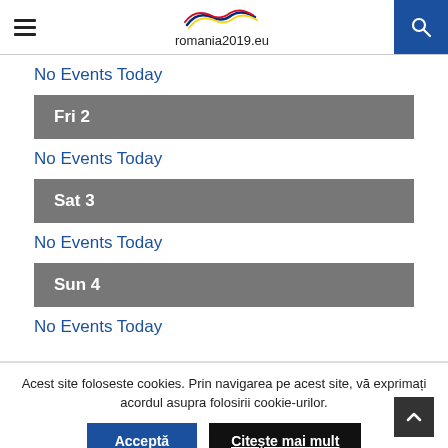romania2019.eu
No Events Today
Fri 2
No Events Today
Sat 3
No Events Today
Sun 4
No Events Today
Acest site foloseste cookies. Prin navigarea pe acest site, vă exprimați acordul asupra folosirii cookie-urilor.